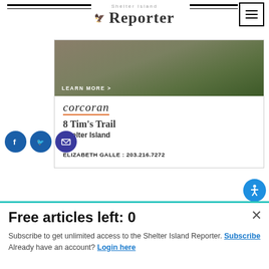Shelter Island Reporter
[Figure (advertisement): Corcoran real estate advertisement showing aerial photo and listing: 8 Tim's Trail, Shelter Island. ELIZABETH GALLE : 203.216.7272]
Reporter Staff
Looking to comment on this article? Send us a letter to the editor instead.
Free articles left: 0
Subscribe to get unlimited access to the Shelter Island Reporter. Subscribe
Already have an account? Login here